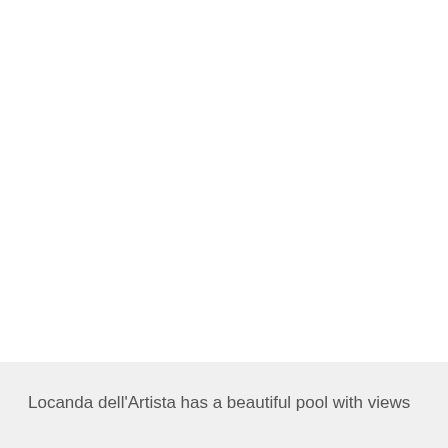[Figure (photo): Large white/blank area representing a photo of Locanda dell'Artista pool area (image not visible in source)]
Locanda dell'Artista has a beautiful pool with views